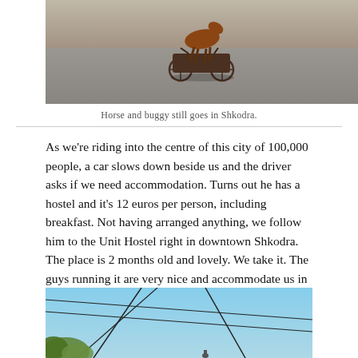[Figure (photo): A horse and buggy walking on a road in Shkodra, viewed from behind. The photo shows the horse and cart on a sunlit street with shadows visible.]
Horse and buggy still goes in Shkodra.
As we're riding into the centre of this city of 100,000 people, a car slows down beside us and the driver asks if we need accommodation. Turns out he has a hostel and it's 12 euros per person, including breakfast. Not having arranged anything, we follow him to the Unit Hostel right in downtown Shkodra. The place is 2 months old and lovely. We take it. The guys running it are very nice and accommodate us in every way.
[Figure (photo): A photo showing a blue sky with wires crossing and some foliage at the lower left corner.]